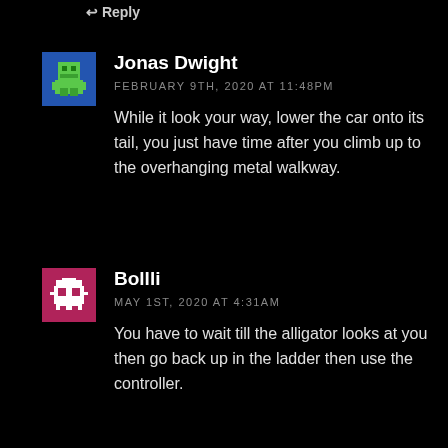Reply
[Figure (illustration): Blue square avatar with green pixel-art alien/robot icon]
Jonas Dwight
FEBRUARY 9TH, 2020 AT 11:48PM
While it look your way, lower the car onto its tail, you just have time after you climb up to the overhanging metal walkway.
[Figure (illustration): Pink/magenta square avatar with white pixel-art robot/printer icon]
Bollli
MAY 1ST, 2020 AT 4:31AM
You have to wait till the alligator looks at you then go back up in the ladder then use the controller.